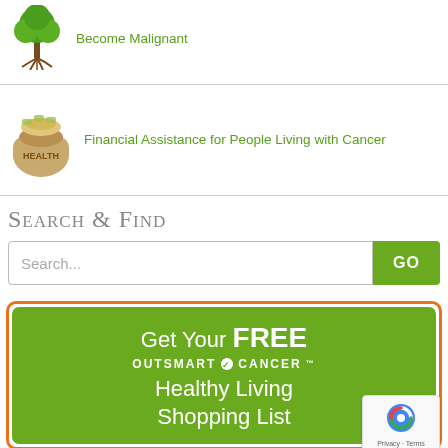[Figure (illustration): Tree with roots icon]
Become Malignant
[Figure (illustration): Money bag labeled HEALTH icon]
Financial Assistance for People Living with Cancer
Search & Find
Search...
[Figure (infographic): Green promotional box with orange border: Get Your FREE OUTSMART CANCER Healthy Living Shopping List]
[Figure (logo): reCAPTCHA badge with Privacy and Terms]